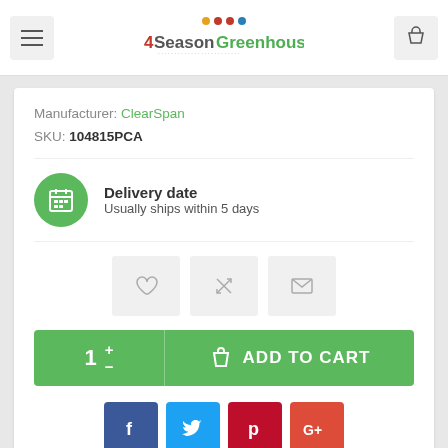4SeasonGreenhouse
Manufacturer: ClearSpan
SKU: 104815PCA
[Figure (infographic): Green circle icon with calendar/delivery symbol, next to text: Delivery date / Usually ships within 5 days]
Delivery date
Usually ships within 5 days
[Figure (infographic): Three gray square action buttons: heart/wishlist, compare (X arrows), email (envelope)]
[Figure (infographic): Add to Cart button with quantity selector showing 1, plus/minus arrows, shopping bag icon and ADD TO CART text on green background]
[Figure (infographic): Social sharing buttons: Facebook (blue f), Twitter (bird), Pinterest (P), Google+ (G+)]